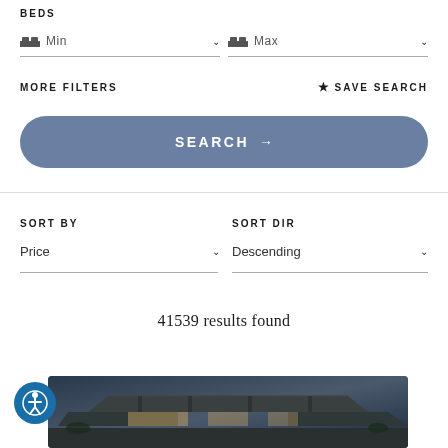BEDS
Min (dropdown) | Max (dropdown)
MORE FILTERS   ★ SAVE SEARCH
SEARCH →
SORT BY
SORT DIR
Price (dropdown)
Descending (dropdown)
41539 results found
[Figure (photo): Aerial/exterior view of a modern luxury home at dusk with angular architecture, illuminated interiors, desert landscaping]